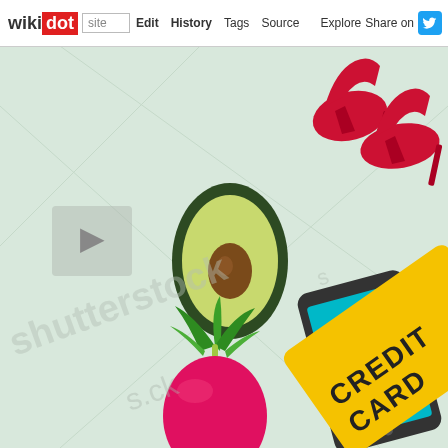wikidot | site | Edit | History | Tags | Source | Explore | Share on Twitter
[Figure (illustration): A Shutterstock stock image showing various flat design icons on a light green-grey background: red high heel shoes (top right, partially cropped), an avocado half (center), a smartphone with teal screen (right center), a red radish with green leaves (bottom center-left), and a partially visible yellow credit card (bottom right corner) with text 'CREDIT CARD' visible. Shutterstock watermark overlaid across the image. Decorative grey square placeholder icons visible on left and right edges.]